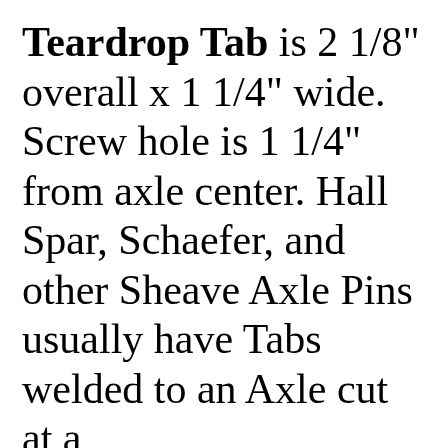Teardrop Tab is 2 1/8" overall x 1 1/4" wide. Screw hole is 1 1/4" from axle center. Hall Spar, Schaefer, and other Sheave Axle Pins usually have Tabs welded to an Axle cut at a